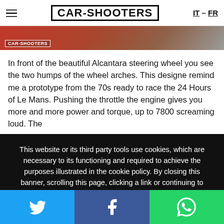CAR-SHOOTERS  IT – FR
[Figure (photo): Car-Shooters branded hero image with CAR-SHOOTERS watermark logo on left, reddish-brown background]
In front of the beautiful Alcantara steering wheel you see the two humps of the wheel arches. This designe remind me a prototype from the 70s ready to race the 24 Hours of Le Mans. Pushing the throttle the engine gives you more and more power and torque, up to 7800 screaming loud. The
This website or its third party tools use cookies, which are necessary to its functioning and required to achieve the purposes illustrated in the cookie policy. By closing this banner, scrolling this page, clicking a link or continuing to browse otherwise, you agree to the use of cookies.